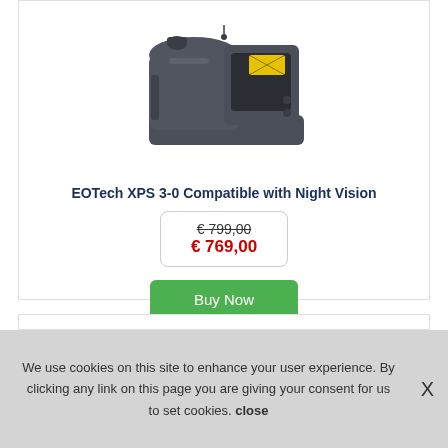[Figure (photo): EOTech XPS 3-0 holographic weapon sight, dark gray body with yellow warning label, viewed from top-front angle]
EOTech XPS 3-0 Compatible with Night Vision
€ 799,00 (strikethrough) / € 769,00 (sale price)
Buy Now
We use cookies on this site to enhance your user experience. By clicking any link on this page you are giving your consent for us to set cookies. close